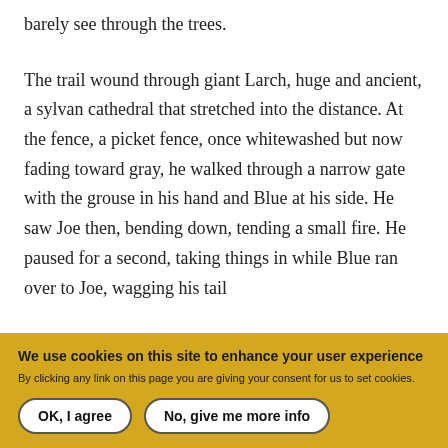barely see through the trees.
The trail wound through giant Larch, huge and ancient, a sylvan cathedral that stretched into the distance. At the fence, a picket fence, once whitewashed but now fading toward gray, he walked through a narrow gate with the grouse in his hand and Blue at his side. He saw Joe then, bending down, tending a small fire. He paused for a second, taking things in while Blue ran over to Joe, wagging his tail
We use cookies on this site to enhance your user experience
By clicking any link on this page you are giving your consent for us to set cookies.
OK, I agree
No, give me more info